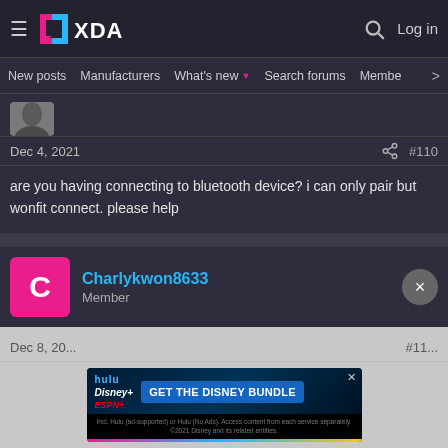XDA Forums navigation bar with logo, search, and Log in
New posts | Manufacturers | What's new | Search forums | Members >
[Figure (photo): User avatar photo partially visible at top]
Dec 4, 2021   #110
are you having connecting to bluetooth device? i can only pair but wonfit connect. please help
Charlykwon8633
Member
Dec 8, 20...   #11...
[Figure (infographic): Disney Bundle advertisement banner showing Hulu, Disney+, ESPN+ logos with GET THE DISNEY BUNDLE call to action]
I just following instructions to install right now, super nice and stable